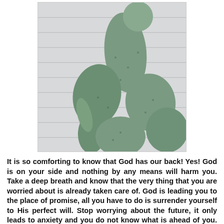[Figure (photo): A prickly pear cactus with multiple paddle-shaped pads, photographed against a white siding wall background. The cactus has a tall central pad reaching upward and several surrounding pads.]
It is so comforting to know that God has our back! Yes! God is on your side and nothing by any means will harm you. Take a deep breath and know that the very thing that you are worried about is already taken care of. God is leading you to the place of promise, all you have to do is surrender yourself to His perfect will. Stop worrying about the future, it only leads to anxiety and you do not know what is ahead of you. Just keep pressing and trusting God. I know what it means to live in constant fear. The devil will tell you lies and your